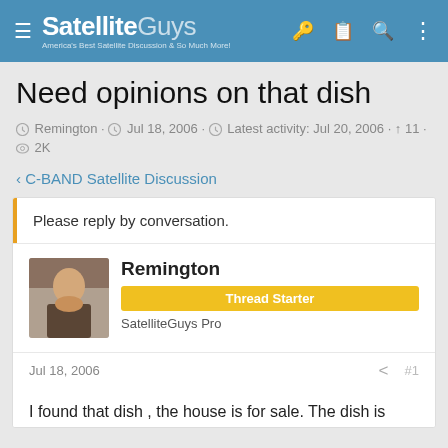SatelliteGuys — America's Best Satellite Discussion & So Much More!
Need opinions on that dish
Remington · Jul 18, 2006 · Latest activity: Jul 20, 2006 · 11 · 2K
< C-BAND Satellite Discussion
Please reply by conversation.
Remington
Thread Starter
SatelliteGuys Pro
Jul 18, 2006  < #1
I found that dish , the house is for sale. The dish is